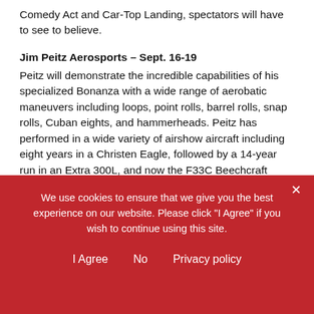Comedy Act and Car-Top Landing, spectators will have to see to believe.
Jim Peitz Aerosports – Sept. 16-19
Peitz will demonstrate the incredible capabilities of his specialized Bonanza with a wide range of aerobatic maneuvers including loops, point rolls, barrel rolls, snap rolls, Cuban eights, and hammerheads. Peitz has performed in a wide variety of airshow aircraft including eight years in a Christen Eagle, followed by a 14-year run in an Extra 300L, and now the F33C Beechcraft Bonanza for over 10 years. He is the recipient of the most prestigious award in the airshow industry, the
We use cookies to ensure that we give you the best experience on our website. Please click "I Agree" if you wish to continue using this site.
I Agree   No   Privacy policy